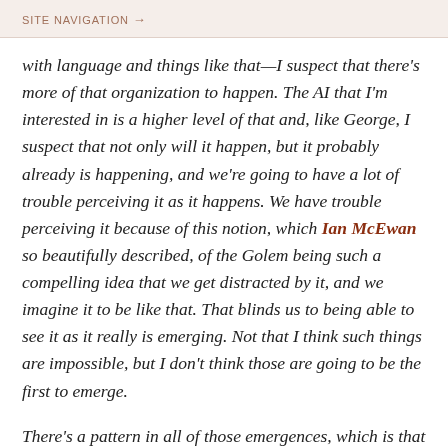SITE NAVIGATION →
with language and things like that—I suspect that there's more of that organization to happen. The AI that I'm interested in is a higher level of that and, like George, I suspect that not only will it happen, but it probably already is happening, and we're going to have a lot of trouble perceiving it as it happens. We have trouble perceiving it because of this notion, which Ian McEwan so beautifully described, of the Golem being such a compelling idea that we get distracted by it, and we imagine it to be like that. That blinds us to being able to see it as it really is emerging. Not that I think such things are impossible, but I don't think those are going to be the first to emerge.
There's a pattern in all of those emergences, which is that